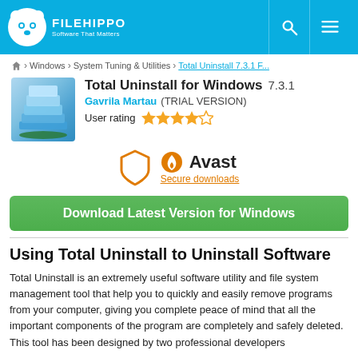FILEHIPPO — Software That Matters
Home > Windows > System Tuning & Utilities > Total Uninstall 7.3.1 F...
Total Uninstall for Windows 7.3.1
Gavrila Martau (TRIAL VERSION)
User rating ★★★★☆
[Figure (logo): Avast secure downloads shield logo with Avast branding and 'Secure downloads' link]
Download Latest Version for Windows
Using Total Uninstall to Uninstall Software
Total Uninstall is an extremely useful software utility and file system management tool that help you to quickly and easily remove programs from your computer, giving you complete peace of mind that all the important components of the program are completely and safely deleted. This tool has been designed by two professional developers